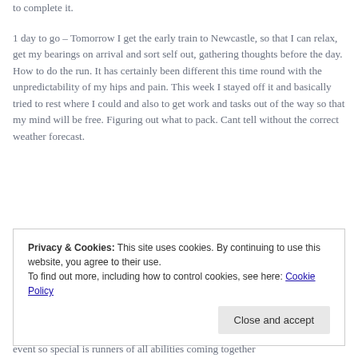to complete it.
1 day to go – Tomorrow I get the early train to Newcastle, so that I can relax, get my bearings on arrival and sort self out, gathering thoughts before the day. How to do the run. It has certainly been different this time round with the unpredictability of my hips and pain. This week I stayed off it and basically tried to rest where I could and also to get work and tasks out of the way so that my mind will be free. Figuring out what to pack. Cant tell without the correct weather forecast.
Privacy & Cookies: This site uses cookies. By continuing to use this website, you agree to their use.
To find out more, including how to control cookies, see here: Cookie Policy
event so special is runners of all abilities coming together